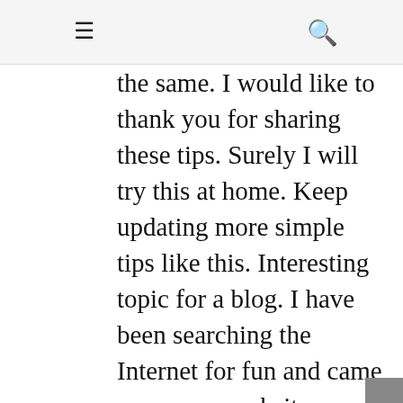≡  🔍
the same. I would like to thank you for sharing these tips. Surely I will try this at home. Keep updating more simple tips like this. Interesting topic for a blog. I have been searching the Internet for fun and came upon your website. Fabulous post. Thanks a ton for sharing your knowledge! It is great to see that some people still put in an effort into managing their websites. I'll be sure to check back again real soon. 🏠🏠🏠🏠🏠🏠🏠🏠